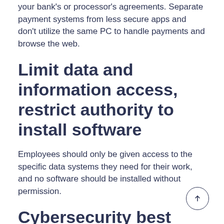your bank's or processor's agreements. Separate payment systems from less secure apps and don't utilize the same PC to handle payments and browse the web.
Limit data and information access, restrict authority to install software
Employees should only be given access to the specific data systems they need for their work, and no software should be installed without permission.
Cybersecurity best